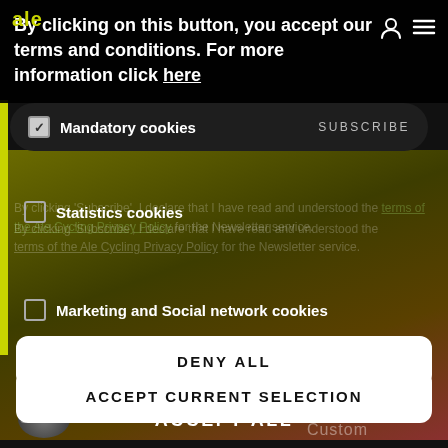By clicking on this button, you accept our terms and conditions. For more information click here
✓ Mandatory cookies   SUBSCRIBE
□ Statistics cookies
By clicking 'Subscribe', I declare that I have read and understood the terms of the Ale Cycling Privacy Policy for the Newsletter service.
□ Marketing and Social network cookies
DENY ALL
ACCEPT CURRENT SELECTION
ACCEPT ALL
Custom